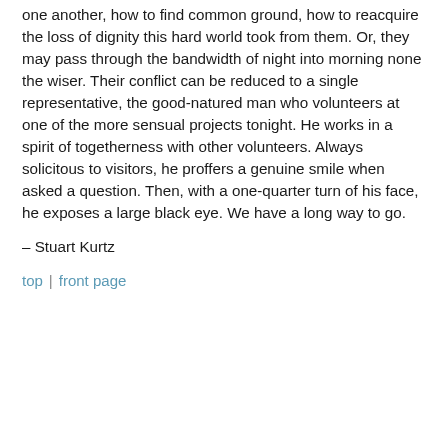one another, how to find common ground, how to reacquire the loss of dignity this hard world took from them. Or, they may pass through the bandwidth of night into morning none the wiser. Their conflict can be reduced to a single representative, the good-natured man who volunteers at one of the more sensual projects tonight. He works in a spirit of togetherness with other volunteers. Always solicitous to visitors, he proffers a genuine smile when asked a question. Then, with a one-quarter turn of his face, he exposes a large black eye. We have a long way to go.
– Stuart Kurtz
top | front page